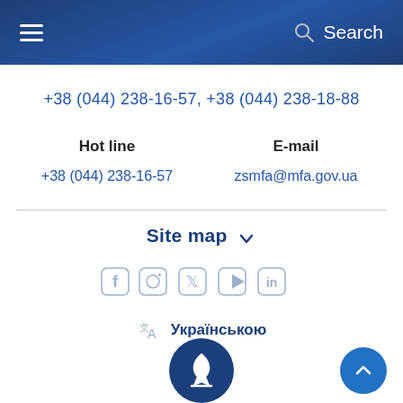Search
+38 (044) 238-16-57, +38 (044) 238-18-88
Hot line
+38 (044) 238-16-57
E-mail
zsmfa@mfa.gov.ua
Site map
[Figure (illustration): Social media icons: Facebook, Instagram, Twitter, YouTube, LinkedIn]
Українською
[Figure (logo): Ukrainian trident emblem in dark blue circle]